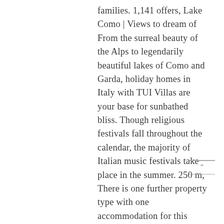families. 1,141 offers, Lake Como | Views to dream of From the surreal beauty of the Alps to legendarily beautiful lakes of Como and Garda, holiday homes in Italy with TUI Villas are your base for sunbathed bliss. Though religious festivals fall throughout the calendar, the majority of Italian music festivals take place in the summer. 250 m, There is one further property type with one accommodation for this complex, Approx. Spain Villa Holidays. No hands-on